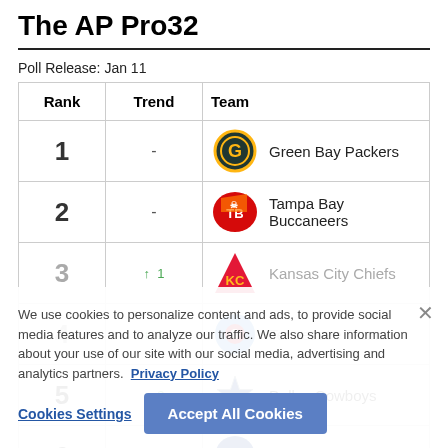The AP Pro32
Poll Release: Jan 11
| Rank | Trend | Team |
| --- | --- | --- |
| 1 | - | Green Bay Packers |
| 2 | - | Tampa Bay Buccaneers |
| 3 | ↑ 1 | Kansas City Chiefs |
| 4 | ↑ 1 | Tennessee Titans |
| 5 | ↑ 3 | Dallas Cowboys |
| 6 | ↓ 3 | Los Angeles Rams |
We use cookies to personalize content and ads, to provide social media features and to analyze our traffic. We also share information about your use of our site with our social media, advertising and analytics partners. Privacy Policy
Cookies Settings | Accept All Cookies